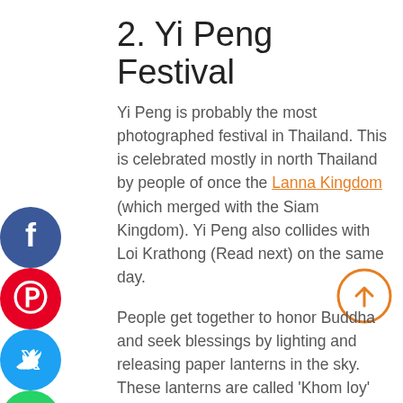2. Yi Peng Festival
Yi Peng is probably the most photographed festival in Thailand. This is celebrated mostly in north Thailand by people of once the Lanna Kingdom (which merged with the Siam Kingdom). Yi Peng also collides with Loi Krathong (Read next) on the same day.
People get together to honor Buddha and seek blessings by lighting and releasing paper lanterns in the sky. These lanterns are called ‘Khom loy’ and readily available around the town.
The lanterns are released in large grounds. Hundreds of lanterns gently floating up in the sky creating a
[Figure (other): Social media share icons sidebar: Facebook (blue), Pinterest (red), Twitter (blue), WhatsApp (green), LinkedIn (blue), Share (orange)]
[Figure (other): Orange circle scroll-up arrow button]